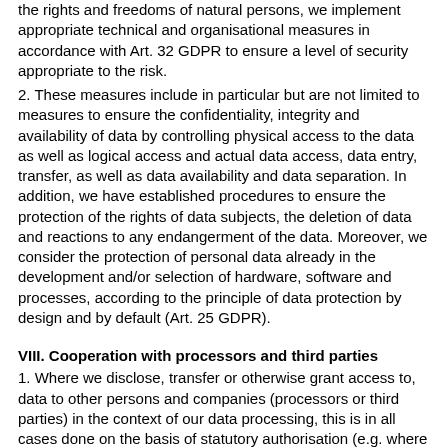the rights and freedoms of natural persons, we implement appropriate technical and organisational measures in accordance with Art. 32 GDPR to ensure a level of security appropriate to the risk.
2. These measures include in particular but are not limited to measures to ensure the confidentiality, integrity and availability of data by controlling physical access to the data as well as logical access and actual data access, data entry, transfer, as well as data availability and data separation. In addition, we have established procedures to ensure the protection of the rights of data subjects, the deletion of data and reactions to any endangerment of the data. Moreover, we consider the protection of personal data already in the development and/or selection of hardware, software and processes, according to the principle of data protection by design and by default (Art. 25 GDPR).
VIII. Cooperation with processors and third parties
1. Where we disclose, transfer or otherwise grant access to, data to other persons and companies (processors or third parties) in the context of our data processing, this is in all cases done on the basis of statutory authorisation (e.g. where the transfer of data to third parties such as payment services providers is necessary for contract performance according to Art. 6 subs. 1 b) GDPR), or when you have given your consent to the processing, or the processing is necessary for compliance with a legal obligation or the processing is carried out for the purposes of